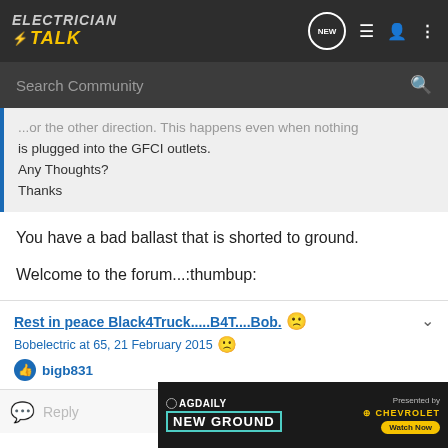ELECTRICIAN TALK — navigation bar with search
...or the other direction. This happens even when nothing is plugged into the GFCI outlets.
Any Thoughts?
Thanks
You have a bad ballast that is shorted to ground.
Welcome to the forum...:thumbup:
Rest in peace Black4Truck.....B4T....Bob. 🙁
Bobelectric at 65, 21 February 2015 🙁
bigb831
Reply
[Figure (screenshot): AG Daily New Ground advertisement banner with Chevrolet Watch Now button]